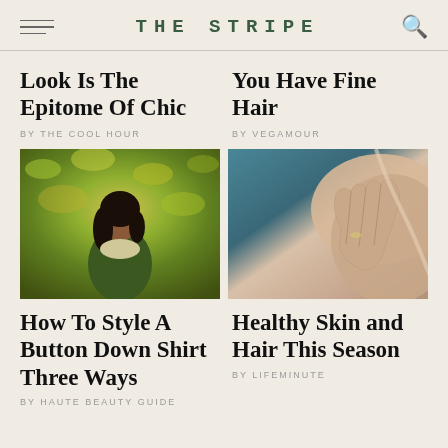THE STRIPE
Look Is The Epitome Of Chic
BY THE COOL HOUR
You Have Fine Hair
BY VEGAMOUR
[Figure (photo): Woman standing outdoors in front of autumn foliage, wearing a dark green outfit]
[Figure (photo): Close-up of a hand touching bare skin on a shoulder, beauty/skincare image]
How To Style A Button Down Shirt Three Ways
BY HAUTE BEAUTY GUIDE
Healthy Skin and Hair This Season
BY LIFEMINUTE